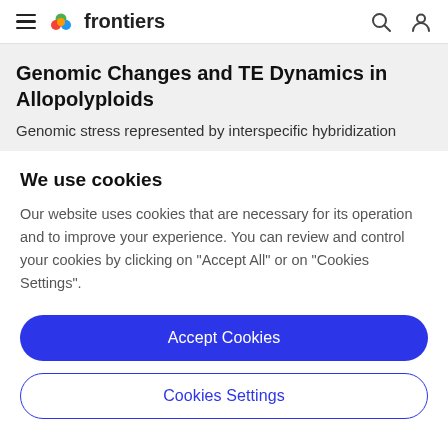frontiers
Genomic Changes and TE Dynamics in Allopolyploids
Genomic stress represented by interspecific hybridization
We use cookies
Our website uses cookies that are necessary for its operation and to improve your experience. You can review and control your cookies by clicking on "Accept All" or on "Cookies Settings".
Accept Cookies
Cookies Settings